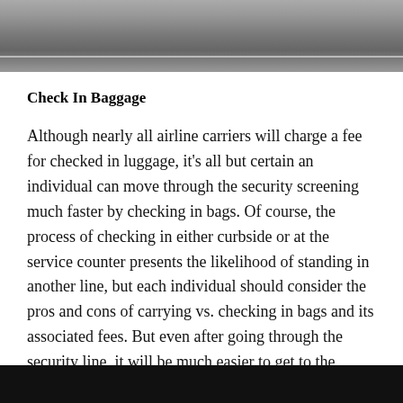[Figure (photo): Grayscale photograph of an airport or road scene, showing a wide corridor or runway-like surface with a white line visible, taken from an elevated angle.]
Check In Baggage
Although nearly all airline carriers will charge a fee for checked in luggage, it's all but certain an individual can move through the security screening much faster by checking in bags. Of course, the process of checking in either curbside or at the service counter presents the likelihood of standing in another line, but each individual should consider the pros and cons of carrying vs. checking in bags and its associated fees. But even after going through the security line, it will be much easier to get to the